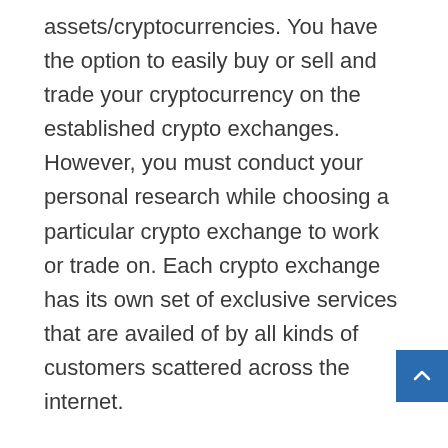assets/cryptocurrencies. You have the option to easily buy or sell and trade your cryptocurrency on the established crypto exchanges. However, you must conduct your personal research while choosing a particular crypto exchange to work or trade on. Each crypto exchange has its own set of exclusive services that are availed of by all kinds of customers scattered across the internet.
DeFi: it stands for decentralized finance and it is a blockchain-based apparatus that provides a significant level of freedom to operate to online users. It is a form of the financial ecosystem that is entirely based on blockchain. Hence, it implies that there is no central authority in this space that regulates the flow & circulation of transactions.